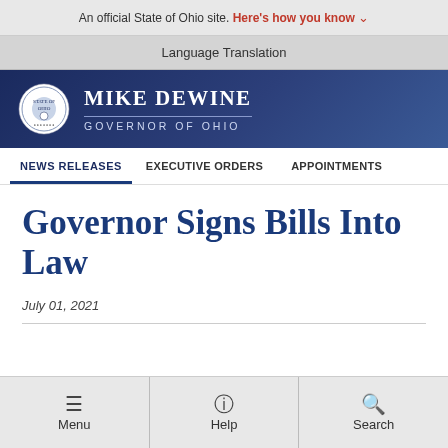An official State of Ohio site. Here's how you know
Language Translation
[Figure (logo): Mike DeWine Governor of Ohio seal and header logo]
NEWS RELEASES  EXECUTIVE ORDERS  APPOINTMENTS
Governor Signs Bills Into Law
July 01, 2021
Menu  Help  Search